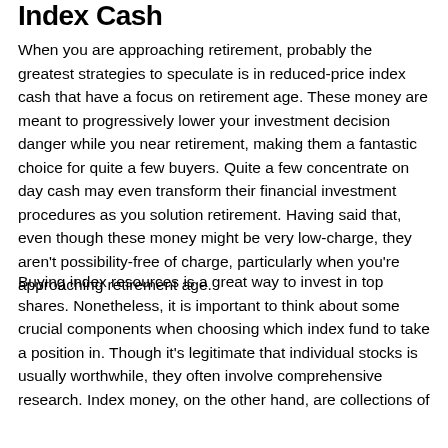Index Cash
When you are approaching retirement, probably the greatest strategies to speculate is in reduced-price index cash that have a focus on retirement age. These money are meant to progressively lower your investment decision danger while you near retirement, making them a fantastic choice for quite a few buyers. Quite a few concentrate on day cash may even transform their financial investment procedures as you solution retirement. Having said that, even though these money might be very low-charge, they aren't possibility-free of charge, particularly when you're approaching retirement age.
Buying index resources is a great way to invest in top shares. Nonetheless, it is important to think about some crucial components when choosing which index fund to take a position in. Though it's legitimate that individual stocks is usually worthwhile, they often involve comprehensive research. Index money, on the other hand, are collections of